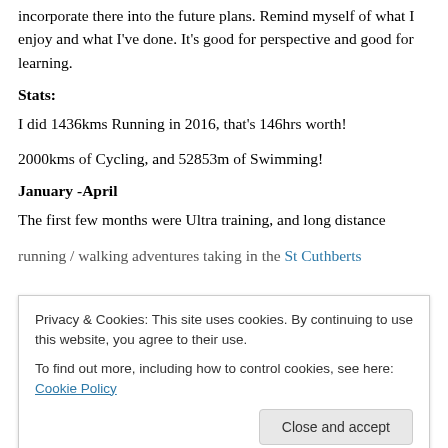incorporate there into the future plans. Remind myself of what I enjoy and what I've done. It's good for perspective and good for learning.
Stats:
I did 1436kms Running in 2016, that's 146hrs worth!
2000kms of Cycling, and 52853m of Swimming!
January -April
The first few months were Ultra training, and long distance running / walking adventures taking in the St Cuthberts
Privacy & Cookies: This site uses cookies. By continuing to use this website, you agree to their use.
To find out more, including how to control cookies, see here: Cookie Policy
Close and accept